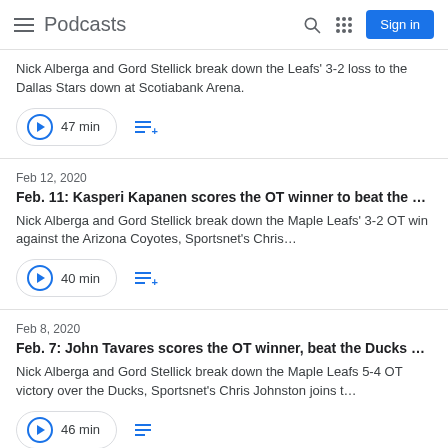Podcasts - Sign in
Nick Alberga and Gord Stellick break down the Leafs' 3-2 loss to the Dallas Stars down at Scotiabank Arena.
47 min
Feb 12, 2020
Feb. 11: Kasperi Kapanen scores the OT winner to beat the …
Nick Alberga and Gord Stellick break down the Maple Leafs' 3-2 OT win against the Arizona Coyotes, Sportsnet's Chris…
40 min
Feb 8, 2020
Feb. 7: John Tavares scores the OT winner, beat the Ducks …
Nick Alberga and Gord Stellick break down the Maple Leafs 5-4 OT victory over the Ducks, Sportsnet's Chris Johnston joins t…
46 min